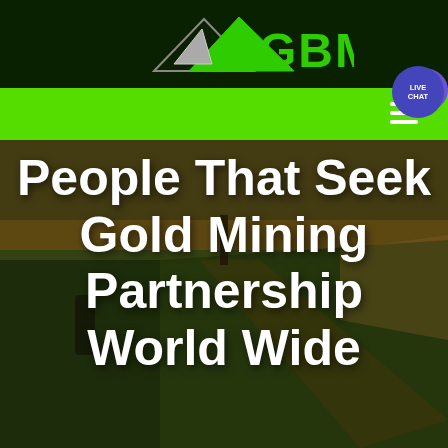[Figure (logo): GBM logo with mountain/triangle icon in dark green header bar]
[Figure (other): Green navigation bar with hamburger menu icon and live chat bubble]
[Figure (photo): Aerial landscape photo of rolling green/golden fields with a road and trees, used as hero image background]
People That Seek Gold Mining Partnership World Wide
Home /